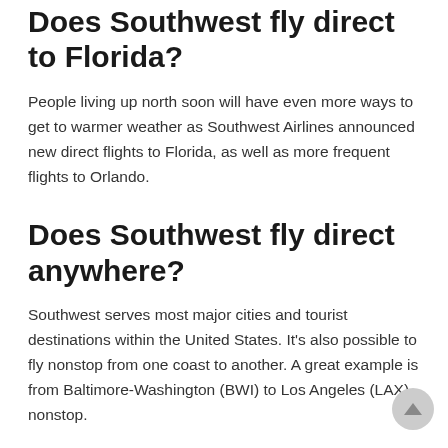Does Southwest fly direct to Florida?
People living up north soon will have even more ways to get to warmer weather as Southwest Airlines announced new direct flights to Florida, as well as more frequent flights to Orlando.
Does Southwest fly direct anywhere?
Southwest serves most major cities and tourist destinations within the United States. It's also possible to fly nonstop from one coast to another. A great example is from Baltimore-Washington (BWI) to Los Angeles (LAX) nonstop.